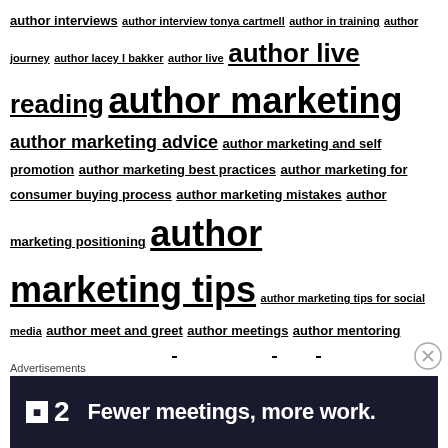author interviews author interview tonya cartmell author in training author journey author lacey l bakker author live author live reading author marketing author marketing advice author marketing and self promotion author marketing best practices author marketing for consumer buying process author marketing mistakes author marketing positioning author marketing tips author marketing tips for social media author meet and greet author meetings author mentoring author metadata author mindset author mindset how to not be a victim author mindset of gratitude author mindset series author mindset what makes you tick author mistakes author mistakes when writing for kids author neuromarketing author neuromarketing tips author newbie advice author newsletter author newsletters for readers author objections author obstacles author of kids books author of pants and unfrogged author opportunities author page author platform authorpreneur author presales author presentation author
Advertisements
[Figure (infographic): Dark banner ad with F2 logo and text: Fewer meetings, more work.]